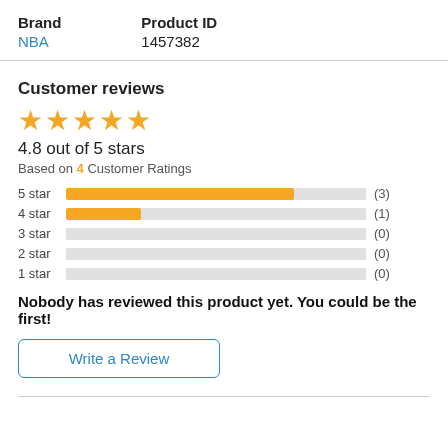| Brand | Product ID |
| --- | --- |
| NBA | 1457382 |
Customer reviews
[Figure (other): 5 gold star rating icons]
4.8 out of 5 stars
Based on 4 Customer Ratings
[Figure (bar-chart): Star rating distribution]
Nobody has reviewed this product yet. You could be the first!
Write a Review